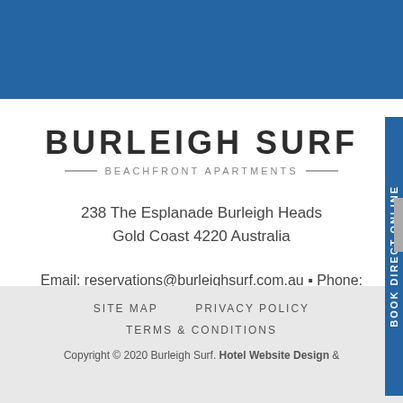[Figure (other): Blue header banner background]
BURLEIGH SURF
— BEACHFRONT APARTMENTS —
238 The Esplanade Burleigh Heads
Gold Coast 4220 Australia
Email: reservations@burleighsurf.com.au ▪ Phone: +61 7 5535 8866 ▪ Fax: +61 7 5535 8523
SITE MAP
PRIVACY POLICY
TERMS & CONDITIONS
Copyright © 2020 Burleigh Surf. Hotel Website Design &